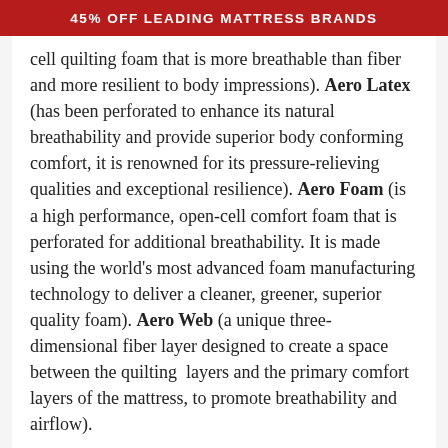45% OFF LEADING MATTRESS BRANDS
cell quilting foam that is more breathable than fiber and more resilient to body impressions). Aero Latex (has been perforated to enhance its natural breathability and provide superior body conforming comfort, it is renowned for its pressure-relieving qualities and exceptional resilience). Aero Foam (is a high performance, open-cell comfort foam that is perforated for additional breathability. It is made using the world’s most advanced foam manufacturing technology to deliver a cleaner, greener, superior quality foam). Aero Web (a unique three-dimensional fiber layer designed to create a space between the quilting layers and the primary comfort layers of the mattress, to promote breathability and airflow).